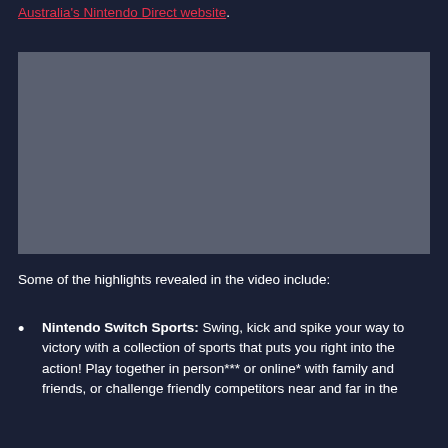Australia's Nintendo Direct website.
[Figure (other): Blank grey video placeholder/embed area]
Some of the highlights revealed in the video include:
Nintendo Switch Sports: Swing, kick and spike your way to victory with a collection of sports that puts you right into the action! Play together in person*** or online* with family and friends, or challenge friendly competitors near and far in the